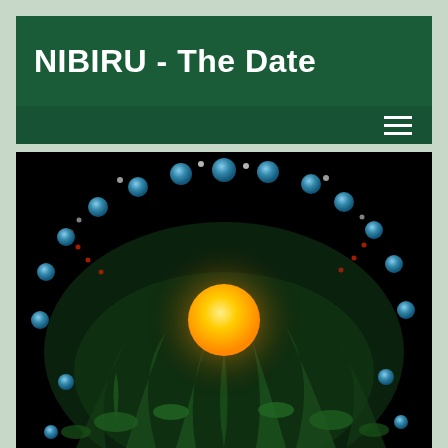NIBIRU - The Date
[Figure (illustration): Dark space illustration showing a central glowing yellow sun/orb surrounded by green energy tendrils, with multiple blue-green planet-like spheres arranged in a circular arc pattern around the top, and dotted red orbital paths visible against the black background.]